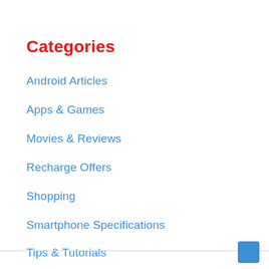Categories
Android Articles
Apps & Games
Movies & Reviews
Recharge Offers
Shopping
Smartphone Specifications
Tips & Tutorials